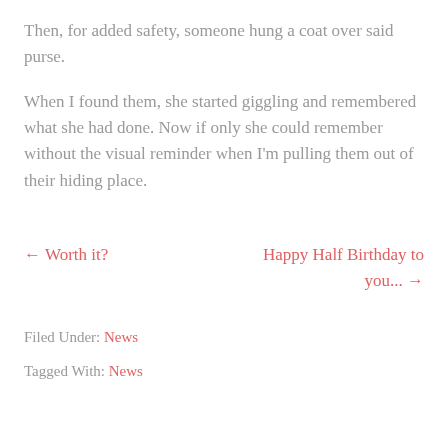Then, for added safety, someone hung a coat over said purse.
When I found them, she started giggling and remembered what she had done. Now if only she could remember without the visual reminder when I'm pulling them out of their hiding place.
← Worth it?
Happy Half Birthday to you... →
Filed Under: News
Tagged With: News